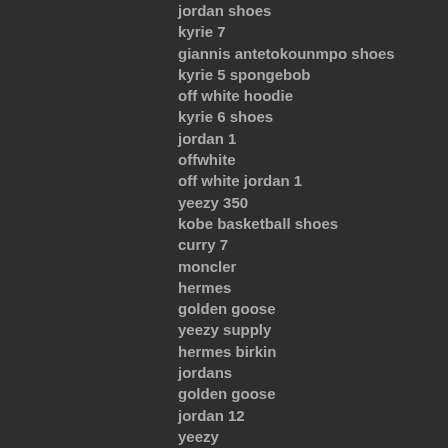jordan shoes
kyrie 7
giannis antetokounmpo shoes
kyrie 5 spongebob
off white hoodie
kyrie 6 shoes
jordan 1
offwhite
off white jordan 1
yeezy 350
kobe basketball shoes
curry 7
moncler
hermes
golden goose
yeezy supply
hermes birkin
jordans
golden goose
jordan 12
yeezy
supreme clothing
stone island outlet
off white
kobe
cheap jordans